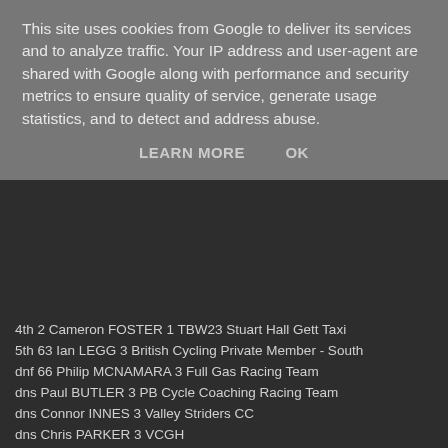This site uses cookies from Google to deliver its services and to analyze traffic. Your IP address and user-agent are shared with Google along with performance and security metrics to ensure quality of service, generate usage statistics, and to detect and address abuse.
LEARN MORE   OK
4th 2 Cameron FOSTER 1 TBW23 Stuart Hall Gett Taxi
5th 63 Ian LEGG 3 British Cycling Private Member - South
dnf 66 Philip MCNAMARA 3 Full Gas Racing Team
dns Paul BUTLER 3 PB Cycle Coaching Racing Team
dns Connor INNES 3 Valley Striders CC
dns Chris PARKER 3 VCGH
dns Michael WOODHEAD 3 British Cycling Private Member - S
E / 1 / 2 / 3 / J Race 2
1st 1 James ASHCROFT J2 Nopinz Symec Development Team
2nd 63 Ian LEGG 3 British Cycling Private Member - South
3rd 2 Cameron FOSTER 1 TBW23 Stuart Hall Gett Taxi
4th 65 George COTTRELL A Poole Wheelers CC
5th 64 Matthew CALLAGHAN 3 Hart Evolution Racing Team
6th 66 Philip MCNAMARA 3 Full Gas Racing Team
dns Paul BUTLER 3 PB Cycle Coaching Racing Team
dns Connor INNES 3 Valley Striders CC
dns Chris PARKER 3 VCGH